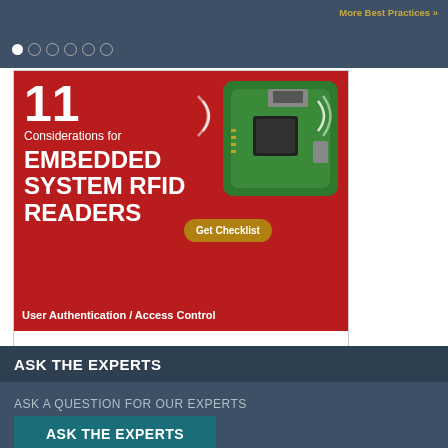More Best Practices »
[Figure (screenshot): Navigation dot indicators: one filled white dot followed by five empty circle dots on dark background]
[Figure (illustration): Advertisement banner for Elatec RFID Systems: '11 Considerations for EMBEDDED SYSTEM RFID READERS' with a Get Checklist button, User Authentication / Access Control text, and a circuit board image. White section below shows ELATEC RFID Systems logo.]
ASK THE EXPERTS
ASK A QUESTION FOR OUR EXPERTS
ASK THE EXPERTS